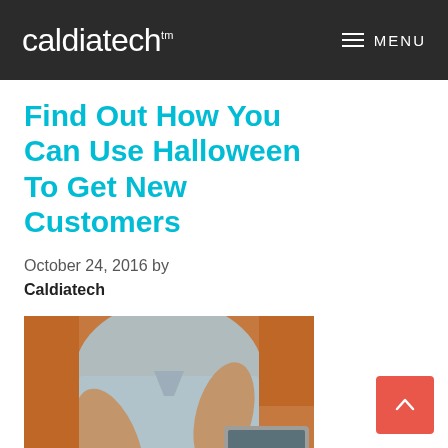caldiatech™ MENU
Find Out How You Can Use Halloween To Get New Customers
October 24, 2016 by
Caldiatech
[Figure (photo): Person in a blue shirt writing with a pen on paper near a laptop, with an orange background visible behind them.]